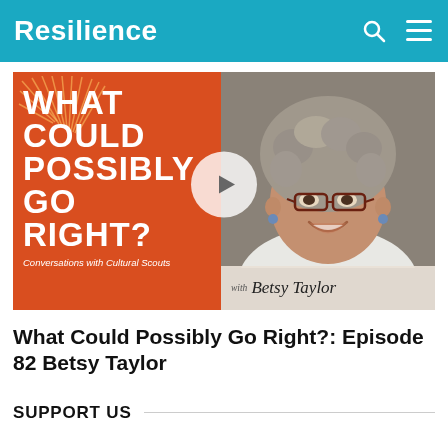Resilience
[Figure (screenshot): Video thumbnail for 'What Could Possibly Go Right?' podcast episode featuring Betsy Taylor. Left half shows orange background with bold white text 'WHAT COULD POSSIBLY GO RIGHT?' and subtitle 'Conversations with Cultural Scouts'. Right half shows a photo of Betsy Taylor, a woman with curly gray hair and glasses, smiling. A play button circle overlays the center. Bottom right has a banner reading 'with Betsy Taylor'.]
What Could Possibly Go Right?: Episode 82 Betsy Taylor
SUPPORT US